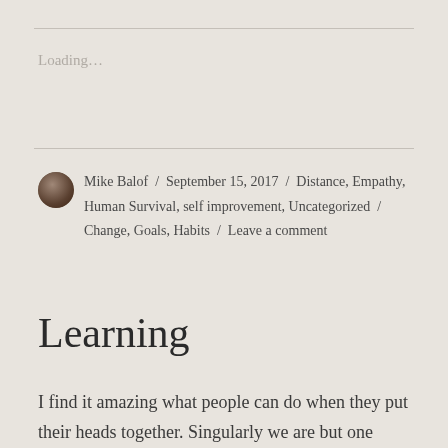Loading...
Mike Balof / September 15, 2017 / Distance, Empathy, Human Survival, self improvement, Uncategorized / Change, Goals, Habits / Leave a comment
Learning
I find it amazing what people can do when they put their heads together. Singularly we are but one voice in the wilderness. Yet, put us